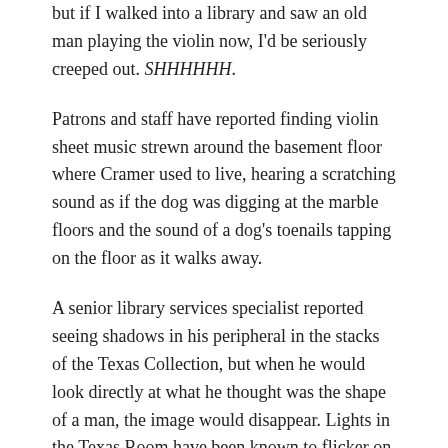but if I walked into a library and saw an old man playing the violin now, I'd be seriously creeped out. SHHHHHH.
Patrons and staff have reported finding violin sheet music strewn around the basement floor where Cramer used to live, hearing a scratching sound as if the dog was digging at the marble floors and the sound of a dog's toenails tapping on the floor as it walks away.
A senior library services specialist reported seeing shadows in his peripheral in the stacks of the Texas Collection, but when he would look directly at what he thought was the shape of a man, the image would disappear. Lights in the Texas Room have been known to flicker on and off, and despite the current gardener insisting he hasn't planted anything new, trees will sprout up in freshly planted locations around the building.
A ghost that does yard work? That might not be so bad.